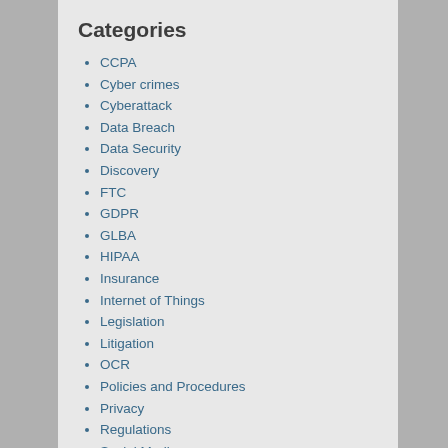Categories
CCPA
Cyber crimes
Cyberattack
Data Breach
Data Security
Discovery
FTC
GDPR
GLBA
HIPAA
Insurance
Internet of Things
Legislation
Litigation
OCR
Policies and Procedures
Privacy
Regulations
Social Media
Standards